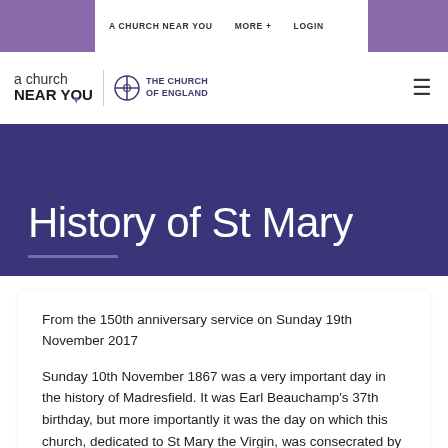A CHURCH NEAR YOU   MORE +   LOGIN
[Figure (logo): a church near you | THE CHURCH OF ENGLAND logo with cross icon]
History of St Mary
From the 150th anniversary service on Sunday 19th November 2017
Sunday 10th November 1867 was a very important day in the history of Madresfield. It was Earl Beauchamp's 37th birthday, but more importantly it was the day on which this church, dedicated to St Mary the Virgin, was consecrated by the then Lord Bishop of Worcester, Henry Philpott.